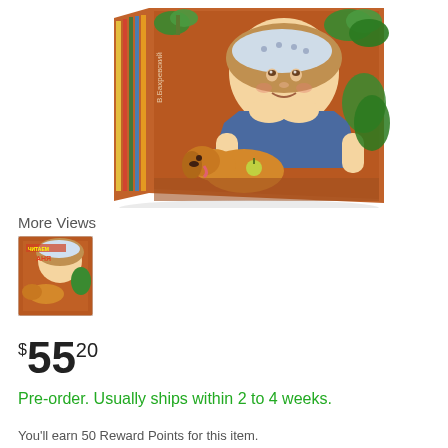[Figure (photo): 3D rendering of a hardcover children's book shown at an angle. The cover features an illustrated girl leaning on her elbows with a dog, surrounded by green plants, on a brown/orange background. The spine has colorful stripes.]
More Views
[Figure (photo): Small thumbnail image of the same children's book cover showing front view]
$55.20
Pre-order. Usually ships within 2 to 4 weeks.
You'll earn 50 Reward Points for this item.